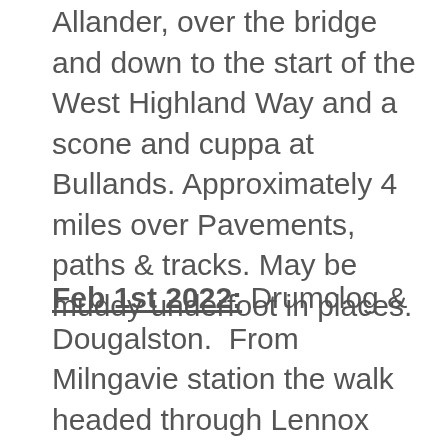Allander, over the bridge and down to the start of the West Highland Way and a scone and cuppa at Bullands. Approximately 4 miles over Pavements, paths & tracks. May be muddy underfoot in places.
Feb 1st 2022: Drumclog & Dougalston. From Milngavie station the walk headed through Lennox park, to Strathblane road and round into Auchenhowie